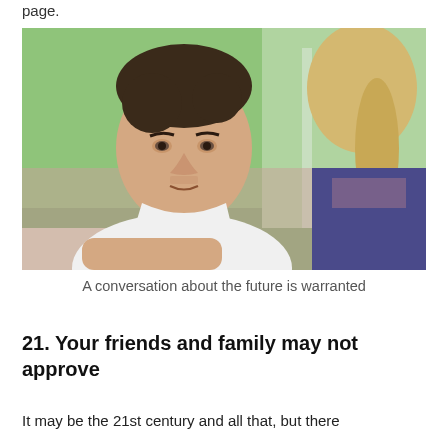page.
[Figure (photo): A man in a white t-shirt facing the camera, sitting across from a woman with a blonde ponytail whose back is to the camera. They appear to be having a conversation at a table. Background shows green foliage through large windows.]
A conversation about the future is warranted
21. Your friends and family may not approve
It may be the 21st century and all that, but there